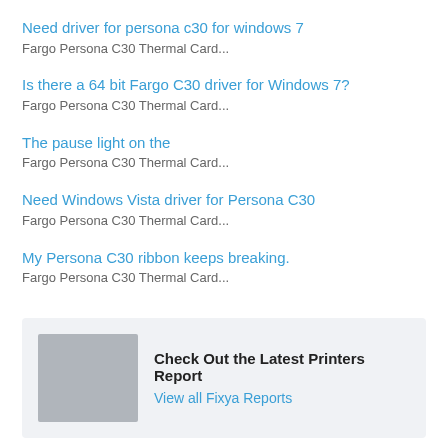Need driver for persona c30 for windows 7
Fargo Persona C30 Thermal Card...
Is there a 64 bit Fargo C30 driver for Windows 7?
Fargo Persona C30 Thermal Card...
The pause light on the
Fargo Persona C30 Thermal Card...
Need Windows Vista driver for Persona C30
Fargo Persona C30 Thermal Card...
My Persona C30 ribbon keeps breaking.
Fargo Persona C30 Thermal Card...
[Figure (infographic): Promotional banner with gray placeholder image and text: Check Out the Latest Printers Report / View all Fixya Reports]